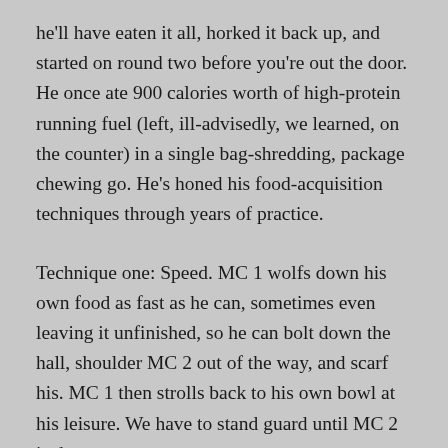he'll have eaten it all, horked it back up, and started on round two before you're out the door. He once ate 900 calories worth of high-protein running fuel (left, ill-advisedly, we learned, on the counter) in a single bag-shredding, package chewing go. He's honed his food-acquisition techniques through years of practice.
Technique one: Speed. MC 1 wolfs down his own food as fast as he can, sometimes even leaving it unfinished, so he can bolt down the hall, shoulder MC 2 out of the way, and scarf his. MC 1 then strolls back to his own bowl at his leisure. We have to stand guard until MC 2 is done.
Technique two: Sneak. Because he eats so much faster than MC 2, and becasue he can't rest if he knows there's